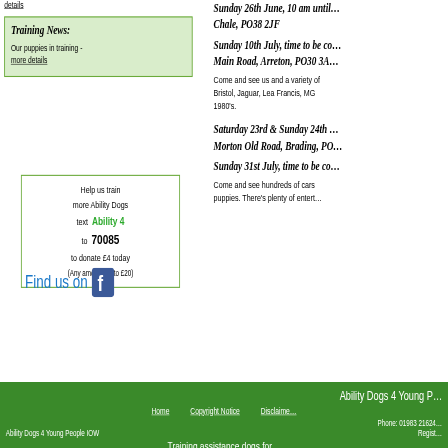details
Training News:
Our puppies in training - more details
Help us train more Ability Dogs text Ability 4 to 70085 to donate £4 today (Any amount up to £20)
[Figure (logo): Find us on Facebook icon]
Sunday 26th June, 10 am until … Chale, PO38 2JF
Sunday 10th July, time to be co… Main Road, Arreton, PO30 3A…
Come and see us and a variety of Bristol, Jaguar, Lea Francis, MG 1980's.
Saturday 23rd & Sunday 24th … Morton Old Road, Brading, PO…
Sunday 31st July, time to be co…
Come and see hundreds of cars puppies. There's plenty of entert…
Ability Dogs 4 Young People IOW | Home | Copyright Notice | Disclaimer | Phone: 01983 21624… | Regist… | Training assistance dogs for…